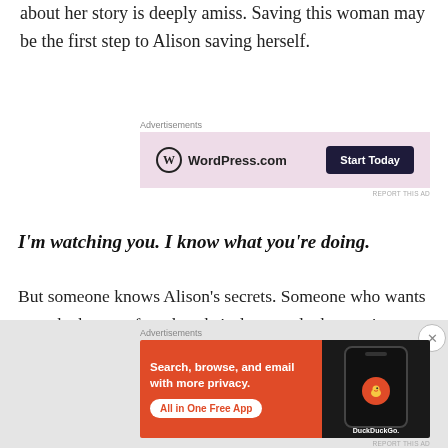about her story is deeply amiss. Saving this woman may be the first step to Alison saving herself.
[Figure (screenshot): WordPress.com advertisement with pink background, WordPress logo on left, 'Start Today' dark button on right]
I’m watching you. I know what you’re doing.
But someone knows Alison’s secrets. Someone who wants to make her pay for what she’s done, and who won’t stop until she’s lost everything….
[Figure (screenshot): DuckDuckGo advertisement with orange background on left showing text 'Search, browse, and email with more privacy. All in One Free App' and a phone mockup on dark right panel with DuckDuckGo branding]